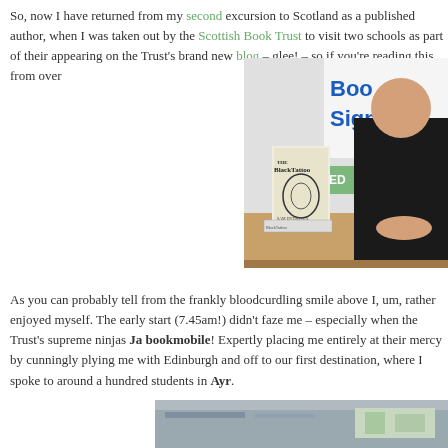So, now I have returned from my second excursion to Scotland as a published author, when I was taken out by the Scottish Book Trust to visit two schools as part of their appearing on the Trust's brand new blog – glee! – so if you're reading this from over
[Figure (photo): Author sitting at a book signing table with a copy of 'The Black Tattoo' book propped up, and a 'Book Signing' banner visible in the background]
As you can probably tell from the frankly bloodcurdling smile above I, um, rather enjoyed myself. The early start (7.45am!) didn't faze me – especially when the Trust's supreme ninjas Ja bookmobile! Expertly placing me entirely at their mercy by cunningly plying me with Edinburgh and off to our first destination, where I spoke to around a hundred students in Ayr.
[Figure (photo): Partial view of a classroom or event space, bottom of page]